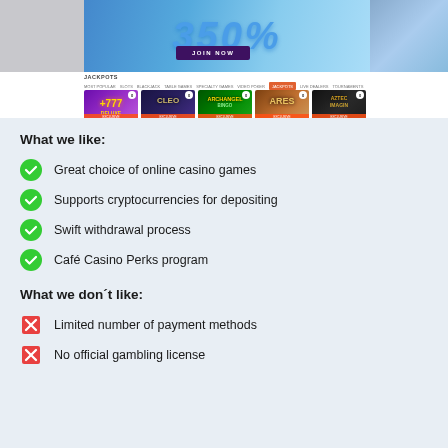[Figure (screenshot): Casino website screenshot showing a promotional banner with '350%' bonus, 'JOIN NOW' button in purple, JACKPOTS navigation bar with game categories, and five jackpot game thumbnails including +777 Deluxe, A Night with Cleo, Archangel Bingo, Ares: The Battle of Troy, and Anna Karenina.]
What we like:
Great choice of online casino games
Supports cryptocurrencies for depositing
Swift withdrawal process
Café Casino Perks program
What we don´t like:
Limited number of payment methods
No official gambling license